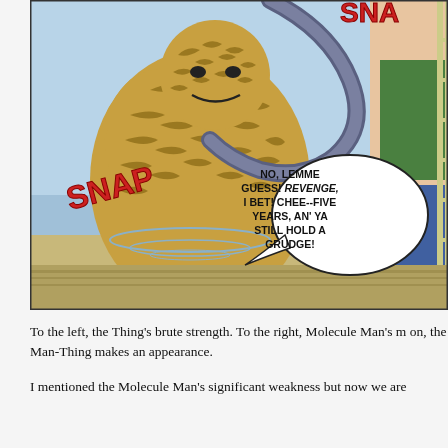[Figure (illustration): Comic book panel showing The Thing (a rocky orange creature) fighting another character. Sound effects 'SNAP' appear in red letters. A speech bubble reads: 'NO, LEMME GUESS! REVENGE, I BET! CHEE--FIVE YEARS, AN' YA STILL HOLD A GRUDGE!']
To the left, the Thing's brute strength. To the right, Molecule Man's m on, the Man-Thing makes an appearance.
I mentioned the Molecule Man's significant weakness but now we are